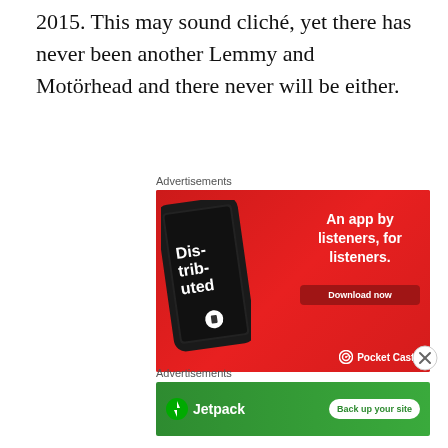2015. This may sound cliché, yet there has never been another Lemmy and Motörhead and there never will be either.
Advertisements
[Figure (screenshot): Pocket Casts app advertisement on red background with smartphone showing 'Dis-trib-uted' podcast, text 'An app by listeners, for listeners.' and 'Download now' button, Pocket Casts logo at bottom right]
[Figure (illustration): Close button (X in circle) overlay on right side]
Advertisements
[Figure (screenshot): Jetpack advertisement on green background with Jetpack logo on left and 'Back up your site' button on right]